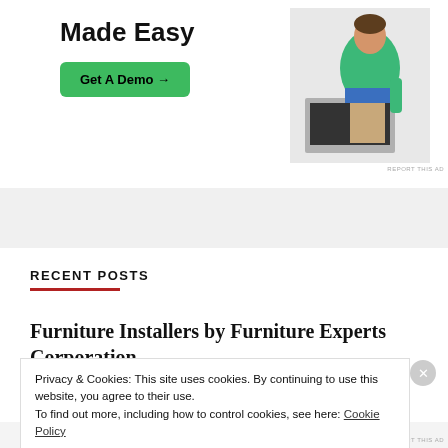[Figure (screenshot): Advertisement banner showing 'Made Easy' headline with a green 'Get A Demo →' button and a photo of a person in green top working at a laptop]
RECENT POSTS
Furniture Installers by Furniture Experts Corporation
Privacy & Cookies: This site uses cookies. By continuing to use this website, you agree to their use.
To find out more, including how to control cookies, see here: Cookie Policy
Close and accept